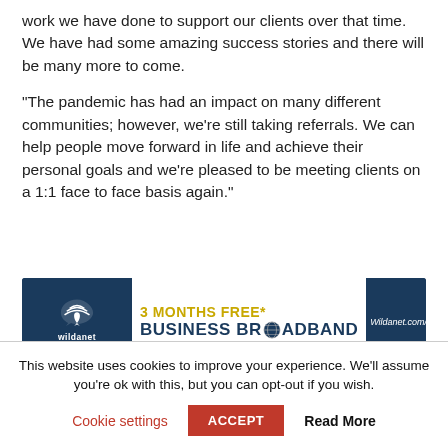work we have done to support our clients over that time. We have had some amazing success stories and there will be many more to come.
“The pandemic has had an impact on many different communities; however, we’re still taking referrals. We can help people move forward in life and achieve their personal goals and we’re pleased to be meeting clients on a 1:1 face to face basis again.”
[Figure (illustration): Wildanet business broadband advertisement banner. Dark blue background with white bird/wifi logo on left, '3 MONTHS FREE* BUSINESS BROADBAND' text in yellow and dark blue on white center, and 'Wildanet.com/business' URL on dark blue right panel.]
This website uses cookies to improve your experience. We’ll assume you’re ok with this, but you can opt-out if you wish.
Cookie settings    ACCEPT    Read More